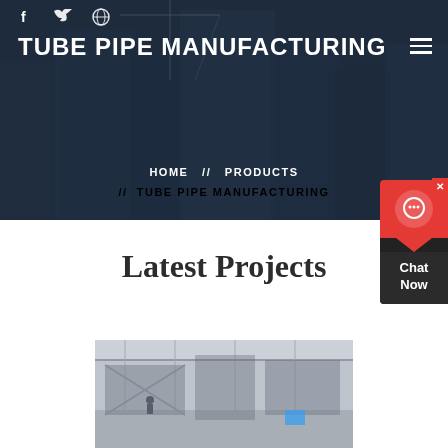TUBE PIPE MANUFACTURING
HOME // PRODUCTS // TUBE PIPE MANUFACTURING
Latest Projects
[Figure (photo): Industrial manufacturing interior with structural steel framework, workers, and overhead cranes visible]